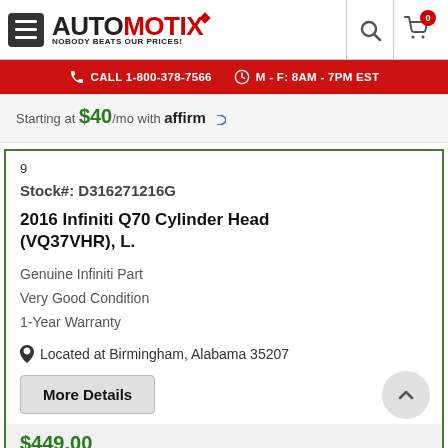AUTOMOTIX — NOBODY BEATS OUR PRICES!
CALL 1-800-378-7566  M - F: 8AM - 7PM EST
Starting at $40/mo with affirm
9
Stock#: D316271216G
2016 Infiniti Q70 Cylinder Head (VQ37VHR), L.
Genuine Infiniti Part
Very Good Condition
1-Year Warranty
Located at Birmingham, Alabama 35207
More Details
$449.00